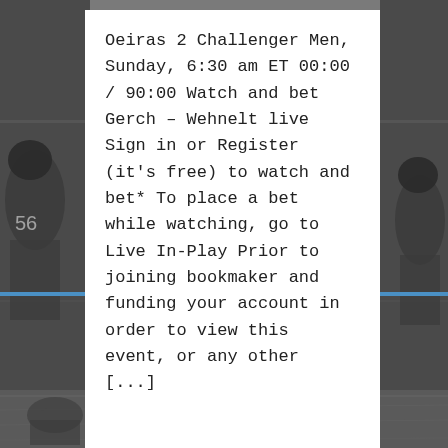[Figure (photo): Black and white photograph of football players in action, used as background behind a white content card]
Oeiras 2 Challenger Men, Sunday, 6:30 am ET 00:00 / 90:00 Watch and bet Gerch – Wehnelt live Sign in or Register (it's free) to watch and bet* To place a bet while watching, go to Live In-Play Prior to joining bookmaker and funding your account in order to view this event, or any other [...]